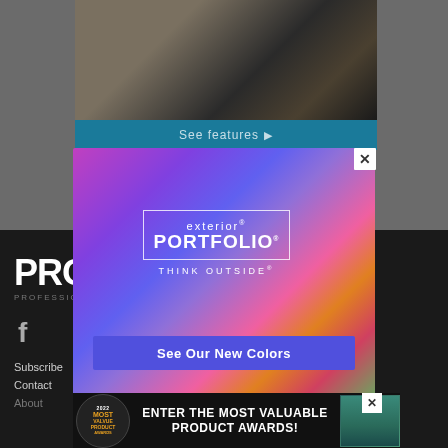[Figure (screenshot): Screenshot of a website page with a popup modal advertisement for Exterior Portfolio siding brand, overlaying a dark footer navigation area. Background shows a textured roofing/siding product photo at top. A teal 'See features' bar is visible. The main modal has a colorful gradient background (purple, pink, orange, green) with the Exterior Portfolio logo and a 'See Our New Colors' blue button. A bottom banner advertises '2022 Most Valuable Product Awards'. Two close (X) buttons are visible.]
See features ▶
exterior PORTFOLIO® THINK OUTSIDE®
See Our New Colors
ENTER THE MOST VALUABLE PRODUCT AWARDS!
PRO
PROFESSIO...
Subscribe
Contact
About